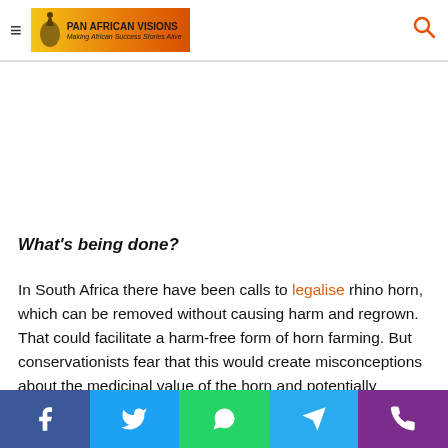Pan African Visions — Making African Success Stories Alive
[Figure (other): Advertisement/empty banner space]
What's being done?
In South Africa there have been calls to legalise rhino horn, which can be removed without causing harm and regrown. That could facilitate a harm-free form of horn farming. But conservationists fear that this would create misconceptions about the medicinal value of the horn and potentially increase the desire for it.
Social share bar: Facebook, Twitter, WhatsApp, Telegram, Phone